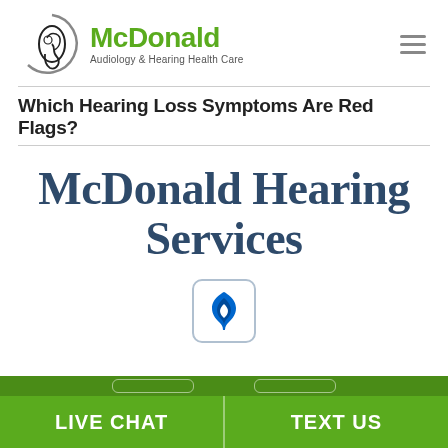[Figure (logo): McDonald Audiology & Hearing Health Care logo with ear icon in circular design and green text]
Which Hearing Loss Symptoms Are Red Flags?
McDonald Hearing Services
[Figure (logo): Better Business Bureau (BBB) logo - blue flame/shield icon in rounded square border]
LIVE CHAT
TEXT US